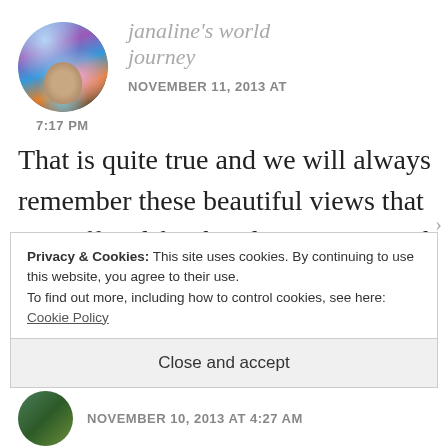[Figure (photo): Circular avatar photo of janaline showing an artistic/colorful blue swirling portrait]
janaline's world journey
NOVEMBER 11, 2013 AT 7:17 PM
That is quite true and we will always remember these beautiful views that we suffered for that day. It was worth every step!!
Privacy & Cookies: This site uses cookies. By continuing to use this website, you agree to their use.
To find out more, including how to control cookies, see here: Cookie Policy
Close and accept
NOVEMBER 10, 2013 AT 4:27 AM